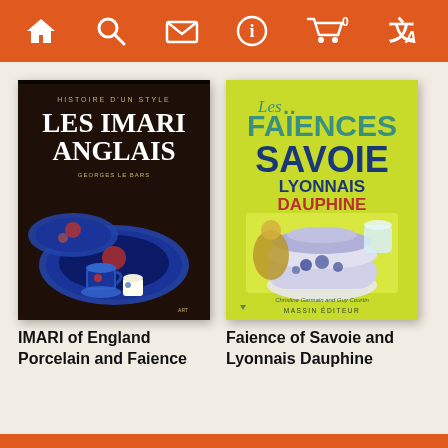Navigation bar with home, search, mail, info, cart (0), translate icons
[Figure (illustration): Book cover: Les Imari Anglais - Histoire d'un Style, dark brown cover with decorative blue and red Imari-style porcelain ceramics]
IMARI of England Porcelain and Faience
[Figure (illustration): Book cover: Les Faiences de Savoie Lyonnais Dauphine, yellow-green cover with baroque ceramic tureen and figurines, published by Massin Editeur]
Faience of Savoie and Lyonnais Dauphine